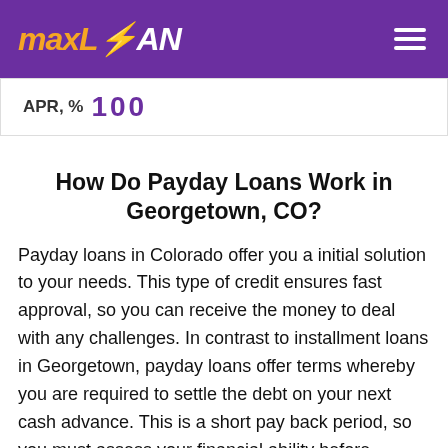MAXLOAN
APR, % 100
How Do Payday Loans Work in Georgetown, CO?
Payday loans in Colorado offer you a initial solution to your needs. This type of credit ensures fast approval, so you can receive the money to deal with any challenges. In contrast to installment loans in Georgetown, payday loans offer terms whereby you are required to settle the debt on your next cash advance. This is a short pay back period, so you must assess your financial ability before submitting your application. Failure to settle on the agreed date will attract fines, which raises the key